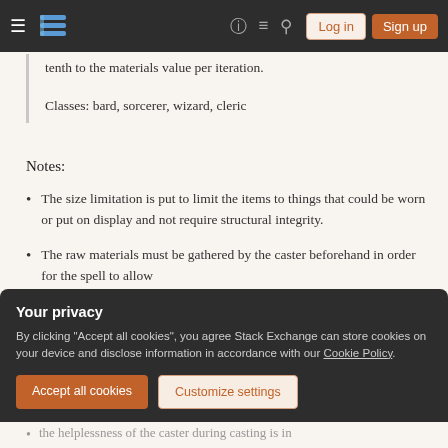Stack Exchange navigation bar with hamburger menu, logo, help, chat, search icons, Log in and Sign up buttons
tenth to the materials value per iteration.
Classes: bard, sorcerer, wizard, cleric
Notes:
The size limitation is put to limit the items to things that could be worn or put on display and not require structural integrity.
The raw materials must be gathered by the caster beforehand in order for the spell to allow
Your privacy
By clicking "Accept all cookies", you agree Stack Exchange can store cookies on your device and disclose information in accordance with our Cookie Policy.
Accept all cookies    Customize settings
the helplessness of the caster during casting is in